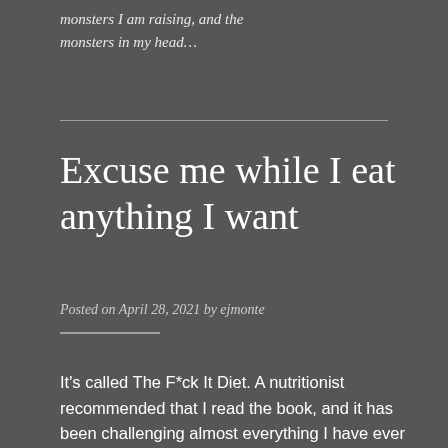monsters I am raising, and the monsters in my head…
Excuse me while I eat anything I want
Posted on April 28, 2021 by ejmonte
It's called The F*ck It Diet. A nutritionist recommended that I read the book, and it has been challenging almost everything I have ever believed about my body and its